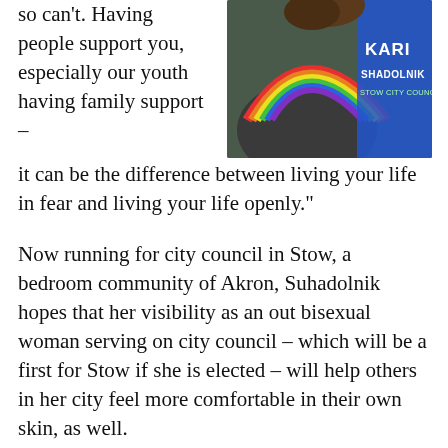so can't. Having people support you, especially our youth having family support –
[Figure (photo): A person wearing a blue campaign shirt reading 'KARI SHADOLNIK STOW CITY COUNCIL' with a rainbow graphic on a grey hoodie visible in front.]
it can be the difference between living your life in fear and living your life openly."
Now running for city council in Stow, a bedroom community of Akron, Suhadolnik hopes that her visibility as an out bisexual woman serving on city council – which will be a first for Stow if she is elected – will help others in her city feel more comfortable in their own skin, as well.
The Buckeye Flame spoke with the candidate about her coming out, her extensive community...